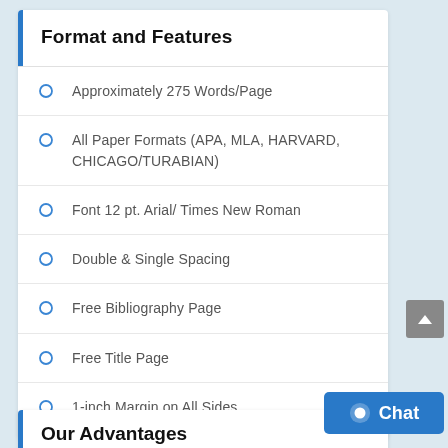Format and Features
Approximately 275 Words/Page
All Paper Formats (APA, MLA, HARVARD, CHICAGO/TURABIAN)
Font 12 pt. Arial/ Times New Roman
Double & Single Spacing
Free Bibliography Page
Free Title Page
1-inch Margin on All Sides
Our Advantages